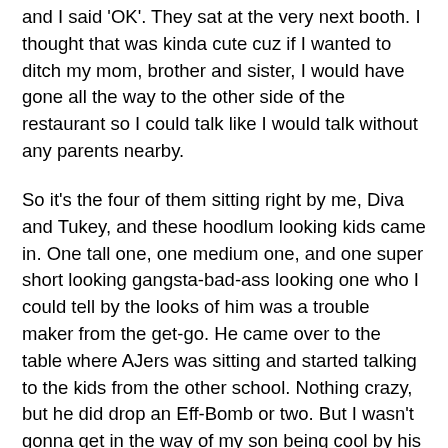and I said 'OK'. They sat at the very next booth. I thought that was kinda cute cuz if I wanted to ditch my mom, brother and sister, I would have gone all the way to the other side of the restaurant so I could talk like I would talk without any parents nearby.
So it's the four of them sitting right by me, Diva and Tukey, and these hoodlum looking kids came in. One tall one, one medium one, and one super short looking gangsta-bad-ass looking one who I could tell by the looks of him was a trouble maker from the get-go. He came over to the table where AJers was sitting and started talking to the kids from the other school. Nothing crazy, but he did drop an Eff-Bomb or two. But I wasn't gonna get in the way of my son being cool by his friends. Then a McD worker guy came over and it was apparent he knew the super short gangsta-bad-ass looking one and that he was friends with him. By the way, super short gangsta-bad-ass looking one (SSGBALO) was not older than in the eighth grade. None of them were, probably more like seventh grade. So, these three new gangsta kids were just talking to AJer's friends when suddenly SSGBALO spots some other kids outside walking and he tears out of the McDonald's and starts chasing down one of them.